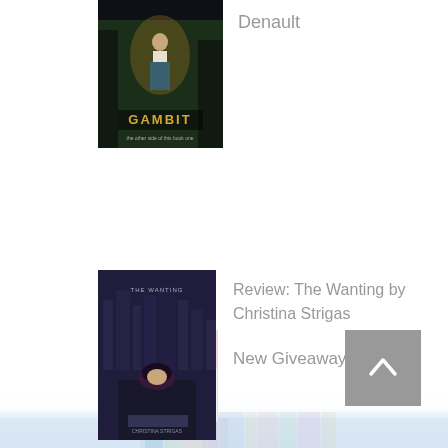[Figure (photo): Book cover for 'Gambit' showing a woman in a dark fantasy setting]
Denault
[Figure (photo): Giveaway promotional image with stuffed animals and Amazon logo]
New Giveaway Alert!
[Figure (photo): Background image of colorful books on a shelf, faded/watermark style]
[Figure (photo): Book cover for 'The Wanting' showing a woman lying down in an urban setting]
Review: The Wanting by Christina Strigas